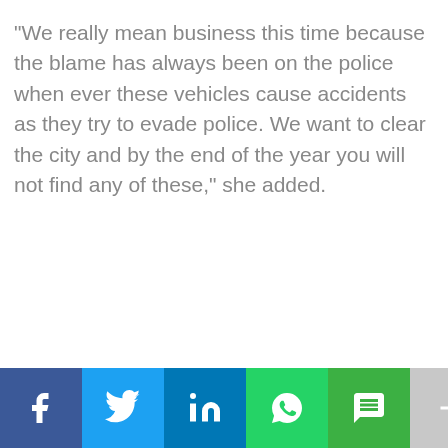“We really mean business this time because the blame has always been on the police when ever these vehicles cause accidents as they try to evade police. We want to clear the city and by the end of the year you will not find any of these,” she added.
[Figure (infographic): Social media sharing bar with icons for Facebook, Twitter, LinkedIn, WhatsApp, SMS, and More (+)]